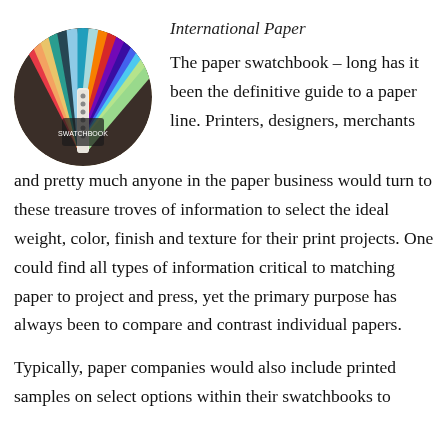[Figure (photo): Circular photo of a colorful paper swatchbook fan showing multiple paper samples in various colors.]
International Paper
The paper swatchbook – long has it been the definitive guide to a paper line. Printers, designers, merchants and pretty much anyone in the paper business would turn to these treasure troves of information to select the ideal weight, color, finish and texture for their print projects. One could find all types of information critical to matching paper to project and press, yet the primary purpose has always been to compare and contrast individual papers.
Typically, paper companies would also include printed samples on select options within their swatchbooks to